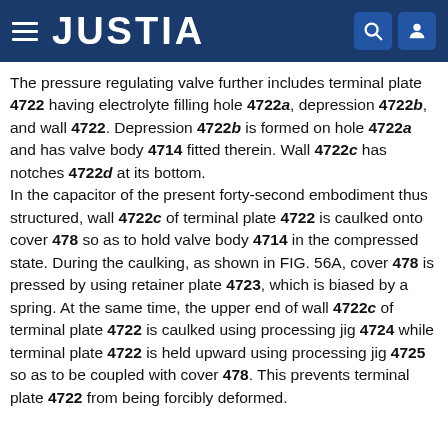JUSTIA
The pressure regulating valve further includes terminal plate 4722 having electrolyte filling hole 4722a, depression 4722b, and wall 4722. Depression 4722b is formed on hole 4722a and has valve body 4714 fitted therein. Wall 4722c has notches 4722d at its bottom.
In the capacitor of the present forty-second embodiment thus structured, wall 4722c of terminal plate 4722 is caulked onto cover 478 so as to hold valve body 4714 in the compressed state. During the caulking, as shown in FIG. 56A, cover 478 is pressed by using retainer plate 4723, which is biased by a spring. At the same time, the upper end of wall 4722c of terminal plate 4722 is caulked using processing jig 4724 while terminal plate 4722 is held upward using processing jig 4725 so as to be coupled with cover 478. This prevents terminal plate 4722 from being forcibly deformed.